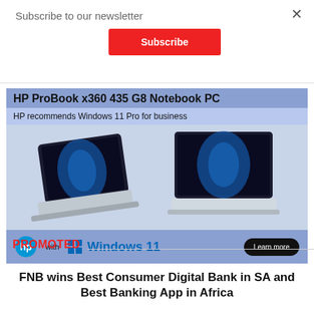×
Subscribe to our newsletter
Subscribe
[Figure (infographic): HP ProBook x360 435 G8 Notebook PC advertisement. Shows two laptop views — one in tablet/tent mode and one standard open laptop mode, both displaying Windows 11 wallpaper. Header reads 'HP ProBook x360 435 G8 Notebook PC' and subheader reads 'HP recommends Windows 11 Pro for business'. Footer shows HP logo, 'with', Windows 11 logo, and 'Learn more' button.]
PROMOTED
FNB wins Best Consumer Digital Bank in SA and Best Banking App in Africa